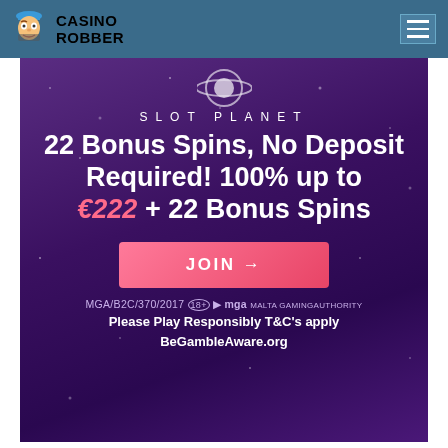CASINO ROBBER
[Figure (screenshot): Slot Planet casino promotional banner with dark purple background showing 22 Bonus Spins No Deposit Required offer, 100% up to €222 + 22 Bonus Spins, with a pink JOIN button, MGA license info and responsible gambling text]
22 Bonus Spins, No Deposit Required! 100% up to €222 + 22 Bonus Spins
MGA/B2C/370/2017 mga MALTA GAMING AUTHORITY
Please Play Responsibly T&C's apply BeGambleAware.org